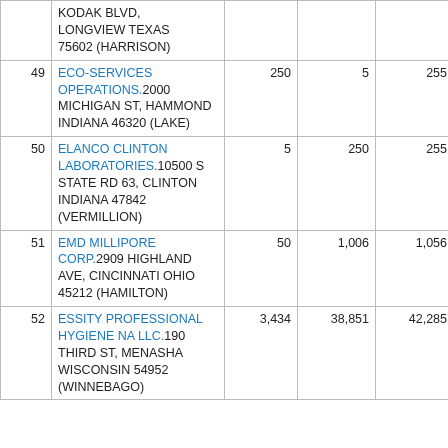| # | Name/Address | Col3 | Col4 | Col5 | Col6 |
| --- | --- | --- | --- | --- | --- |
|  | KODAK BLVD, LONGVIEW TEXAS 75602 (HARRISON) |  |  |  |  |
| 49 | ECO-SERVICES OPERATIONS.2000 MICHIGAN ST, HAMMOND INDIANA 46320 (LAKE) | 250 | 5 | 255 | 0 |
| 50 | ELANCO CLINTON LABORATORIES.10500 S STATE RD 63, CLINTON INDIANA 47842 (VERMILLION) | 5 | 250 | 255 | 5 |
| 51 | EMD MILLIPORE CORP.2909 HIGHLAND AVE, CINCINNATI OHIO 45212 (HAMILTON) | 50 | 1,006 | 1,056 | 0 |
| 52 | ESSITY PROFESSIONAL HYGIENE NA LLC.190 THIRD ST, MENASHA WISCONSIN 54952 (WINNEBAGO) | 3,434 | 38,851 | 42,285 | 89 |